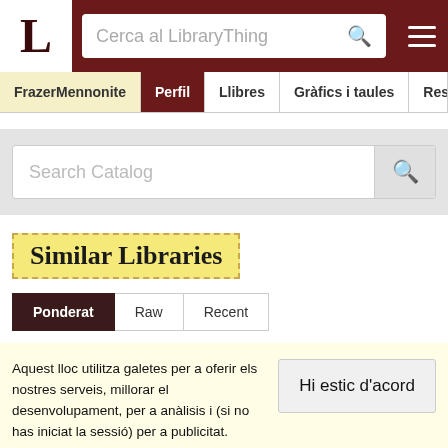LibraryThing - Search bar header with logo L, search input 'Cerca al LibraryThing', and hamburger menu
FrazerMennonite | Perfil | Llibres | Gràfics i taules | Resse...
Search Catalog
Similar Libraries
Ponderat
Raw
Recent
Aquest lloc utilitza galetes per a oferir els nostres serveis, millorar el desenvolupament, per a anàlisis i (si no has iniciat la sessió) per a publicitat. Utilitzant LibraryThing acceptes que has llegit i entès els nostres Termes de servei i política de privacitat. L'ús que facis del lloc i dels seus serveis està subjecte a aquestes polítiques i termes.
Hi estic d'acord